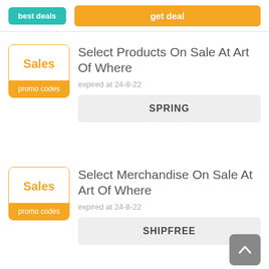[Figure (screenshot): Partial top card with 'best deals' teal badge button and 'get deal' orange button]
Select Products On Sale At Art Of Where
expired at 24-8-22
SPRING
Select Merchandise On Sale At Art Of Where
expired at 24-8-22
SHIPFREE
Up To 25% Off Selected Merchandise
expired at 23-8-22